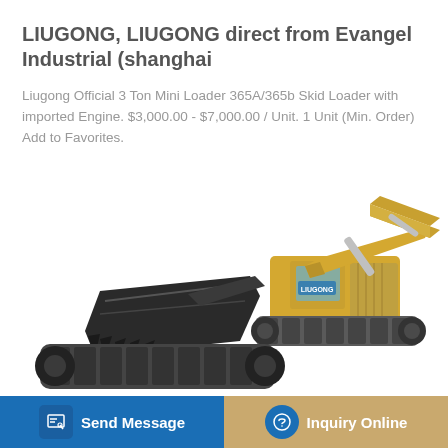LIUGONG, LIUGONG direct from Evangel Industrial (shanghai
Liugong Official 3 Ton Mini Loader 365A/365b Skid Loader with imported Engine. $3,000.00 - $7,000.00 / Unit. 1 Unit (Min. Order) Add to Favorites.
[Figure (screenshot): Yellow and black hydraulic excavator/crawler excavator product photo on white background]
[Figure (infographic): Bottom bar with two buttons: Send Message (blue) and Inquiry Online (tan/gold)]